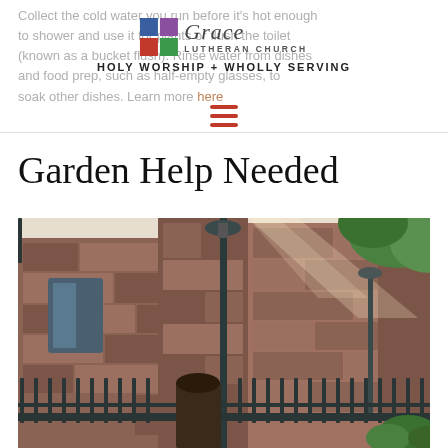Collect the cold water you run before it's hot enough to shower and use it for plants or flush the toilet (known as a bucket flush). Rinse water from dishes and food prep, such as half-empty glasses, to soak other dishes. Learn more here
Grace Lutheran Church — HOLY WORSHIP + WHOLLY SERVING
Garden Help Needed
[Figure (photo): Exterior of a stone church building with Gothic architecture, iron fence, lamp post, and sunlight filtering through trees]